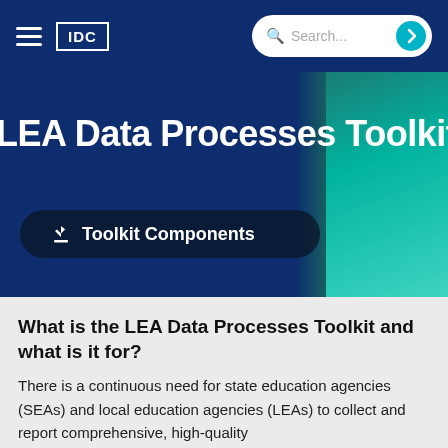IDC
LEA Data Processes Toolkit
Toolkit Components
What is the LEA Data Processes Toolkit and what is it for?
There is a continuous need for state education agencies (SEAs) and local education agencies (LEAs) to collect and report comprehensive, high-quality